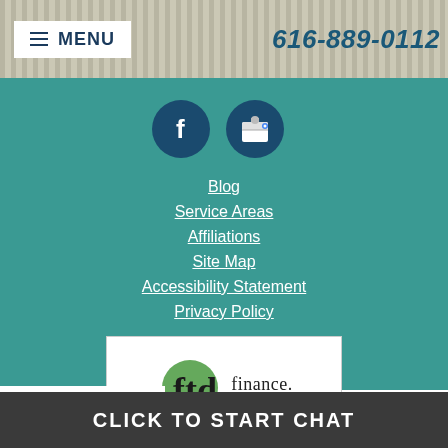MENU | 616-889-0112
[Figure (logo): Facebook circle icon (dark blue circle with white F)]
[Figure (logo): Google My Business / store icon (dark blue circle with white storefront icon)]
Blog
Service Areas
Affiliations
Site Map
Accessibility Statement
Privacy Policy
[Figure (logo): FTL Finance logo — white box with stylized 'ftd' monogram and text 'finance.']
Financing Through FTL
[Figure (logo): Partial blue/red circular logo at bottom left, partially cut off]
CLICK TO START CHAT